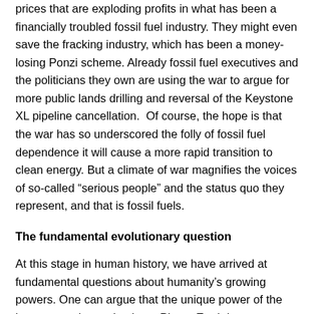prices that are exploding profits in what has been a financially troubled fossil fuel industry. They might even save the fracking industry, which has been a money-losing Ponzi scheme. Already fossil fuel executives and the politicians they own are using the war to argue for more public lands drilling and reversal of the Keystone XL pipeline cancellation.  Of course, the hope is that the war has so underscored the folly of fossil fuel dependence it will cause a more rapid transition to clean energy. But a climate of war magnifies the voices of so-called “serious people” and the status quo they represent, and that is fossil fuels.
The fundamental evolutionary question
At this stage in human history, we have arrived at fundamental questions about humanity’s growing powers. One can argue that the unique power of the human species to dominate Planet Earth is our employment of fire. While other species use natural fire, sometime between 400,000 and one million years ago, humans learned how to make and direct fire. Now our fires have reached a potency that we either learn to control them or be consumed by them, either the slow